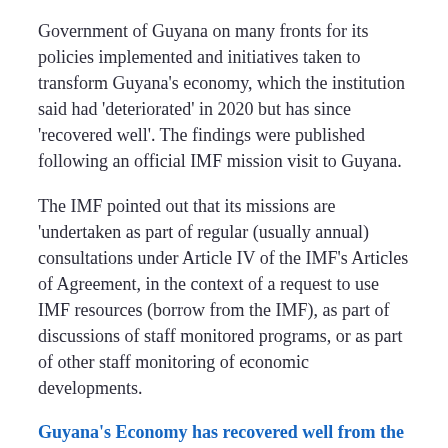Government of Guyana on many fronts for its policies implemented and initiatives taken to transform Guyana's economy, which the institution said had 'deteriorated' in 2020 but has since 'recovered well'. The findings were published following an official IMF mission visit to Guyana.
The IMF pointed out that its missions are 'undertaken as part of regular (usually annual) consultations under Article IV of the IMF&#39;s Articles of Agreement, in the context of a request to use IMF resources (borrow from the IMF), as part of discussions of staff monitored programs, or as part of other staff monitoring of economic developments.
Guyana's Economy has recovered well from the Global Pandemic and 2021 floods on account of sound policy action
The IMF in its findings said that the 'Guyanese